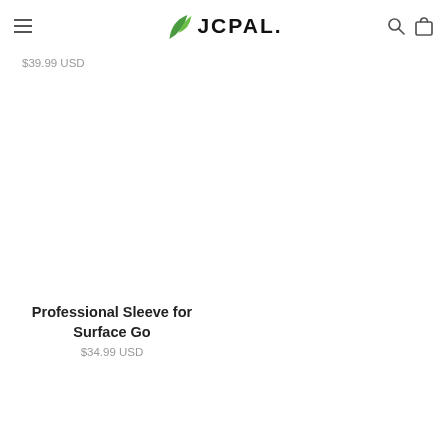JCPAL
$39.99 USD
Professional Sleeve for Surface Go
$34.99 USD